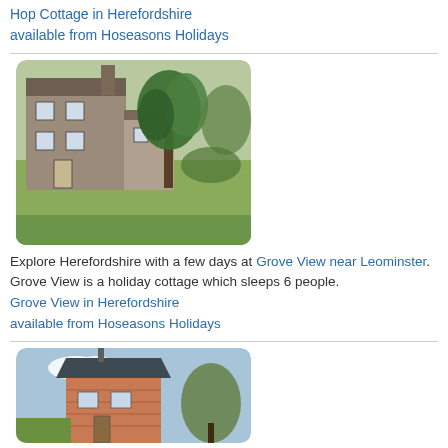Hop Cottage in Herefordshire available from Hoseasons Holidays
[Figure (photo): Stone cottage with garden and large tree in Herefordshire]
Explore Herefordshire with a few days at Grove View near Leominster. Grove View is a holiday cottage which sleeps 6 people.
Grove View in Herefordshire available from Hoseasons Holidays
[Figure (photo): Brick building with slate roof under blue sky, partial view]